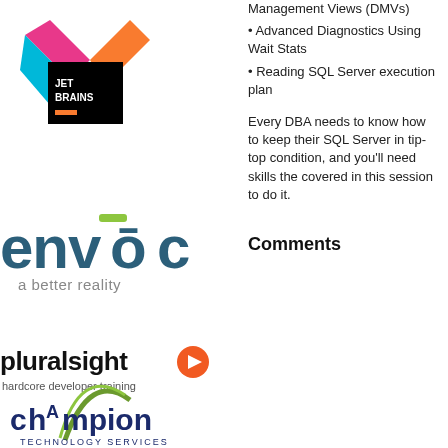[Figure (logo): JetBrains logo — colorful angular arrow shape with black square center containing white 'JET BRAINS' text and orange dash]
• Management Views (DMVs)
• Advanced Diagnostics Using Wait Stats
• Reading SQL Server execution plan
Every DBA needs to know how to keep their SQL Server in tip-top condition, and you'll need skills the covered in this session to do it.
[Figure (logo): Envoc logo — dark teal lowercase 'envoc' text with green bar above 'o', tagline 'a better reality' in grey]
[Figure (logo): Pluralsight logo — black 'pluralsight' text with orange play button icon, tagline 'hardcore developer training']
Comments
[Figure (logo): Champion Technology Services logo — dark navy stylized 'CHAMPION' text with green arc swoosh, subtitle 'TECHNOLOGY SERVICES']